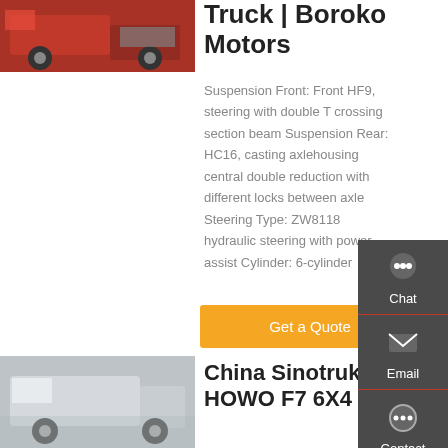[Figure (photo): Red truck image at top left]
Truck | Boroko Motors
Suspension Front: Front HF9, steering with double T crossing section beam Suspension Rear: HC16, casting axlehousing central double reduction with different locks between axle Steering Type: ZW8118 hydraulic steering with power assist Cylinder: 6-cylinder
Get a Quote
[Figure (photo): White truck image at bottom left]
China Sinotruk HOWO F7 6X4